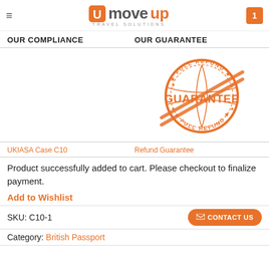moveup TRAVEL SOLUTIONS — cart: 1
OUR COMPLIANCE	OUR GUARANTEE
[Figure (illustration): Orange circular stamp with 'FULL REFUND GUARANTEE' text and diagonal lines across it]
UKIASA Case C10	Refund Guarantee
Product successfully added to cart. Please checkout to finalize payment.
Add to Wishlist
SKU: C10-1
Category: British Passport